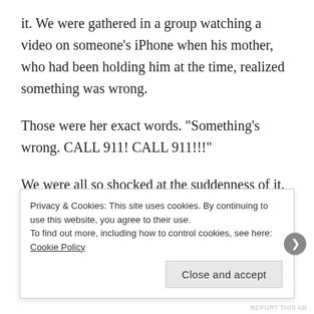it. We were gathered in a group watching a video on someone’s iPhone when his mother, who had been holding him at the time, realized something was wrong.
Those were her exact words. “Something’s wrong. CALL 911! CALL 911!!!”
We were all so shocked at the suddenness of it. Sebastian had gone stiff in his mother’s arms. He was unresponsive, frothing at the mouth and was turning blue. Two of us scrambled for our phones and managed to place the emergency call while his mother ran to the living room and
Privacy & Cookies: This site uses cookies. By continuing to use this website, you agree to their use.
To find out more, including how to control cookies, see here: Cookie Policy
Close and accept
REPORT THIS AD